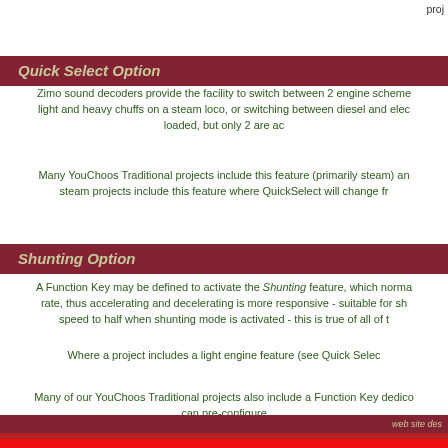proj
Quick Select Option
Zimo sound decoders provide the facility to switch between 2 engine schemes, light and heavy chuffs on a steam loco, or switching between diesel and elec loaded, but only 2 are ac
Many YouChoos Traditional projects include this feature (primarily steam) an steam projects include this feature where QuickSelect will change fr
Shunting Option
A Function Key may be defined to activate the Shunting feature, which norma rate, thus accelerating and decelerating is more responsive - suitable for sh speed to half when shunting mode is activated - this is true of all of t
Where a project includes a light engine feature (see Quick Selec
Many of our YouChoos Traditional projects also include a Function Key dedico can pre-configure
web site des
About YouChoos   Privacy Statement